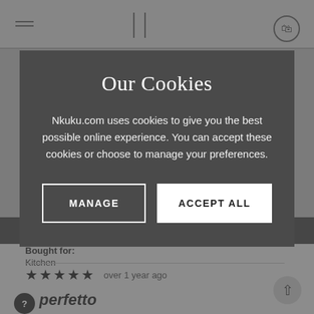[Figure (screenshot): Background website page content showing navigation bar, dark banner, review section with stars, 'Bought for: Kitchen' label, and 'perfetto' heading, all greyed out behind a cookie consent modal overlay.]
Our Cookies
Nkuku.com uses cookies to give you the best possible online experience. You can accept these cookies or choose to manage your preferences.
MANAGE
ACCEPT ALL